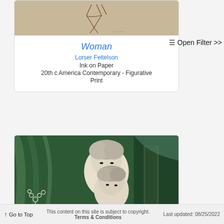[Figure (photo): Sketch/ink drawing on tan paper showing abstract figure lines, appears to be 'Woman' artwork by Lorser Feitelson]
Woman
Lorser Feitelson
Ink on Paper
20th c America Contemporary - Figurative
Print
≡ Open Filter >>
[Figure (photo): Color print showing two pale-faced figures with dark eyes against a green/dark background with foliage]
↑ Go to Top   This content on this site is subject to copyright. Terms & Conditions   Last updated: 08/25/2022